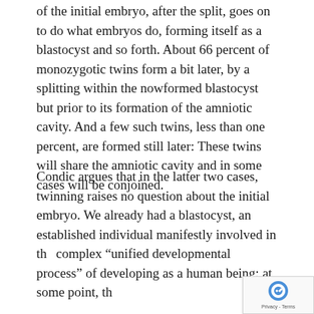of the initial embryo, after the split, goes on to do what embryos do, forming itself as a blastocyst and so forth. About 66 percent of monozygotic twins form a bit later, by a splitting within the nowformed blastocyst but prior to its formation of the amniotic cavity. And a few such twins, less than one percent, are formed still later: These twins will share the amniotic cavity and in some cases will be conjoined.
Condic argues that in the latter two cases, twinning raises no question about the initial embryo. We already had a blastocyst, an established individual manifestly involved in the complex “unified developmental process” of developing as a human being; at some point, th…